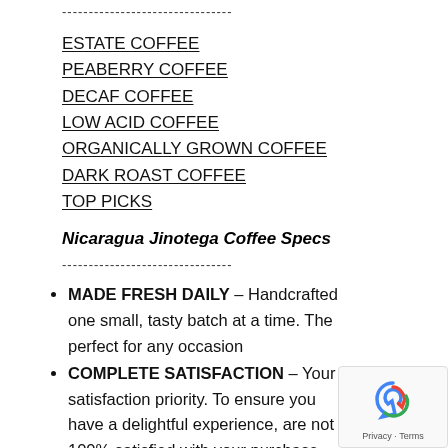--------------------------------
ESTATE COFFEE
PEABERRY COFFEE
DECAF COFFEE
LOW ACID COFFEE
ORGANICALLY GROWN COFFEE
DARK ROAST COFFEE
TOP PICKS
Nicaragua Jinotega Coffee Specs
--------------------------------
MADE FRESH DAILY – Handcrafted one small, tasty batch at a time. The perfect for any occasion
COMPLETE SATISFACTION – Your satisfaction priority. To ensure you have a delightful experience, are not 100% satisfied with your purchase, we will provide you with a replacement or refund, no questions